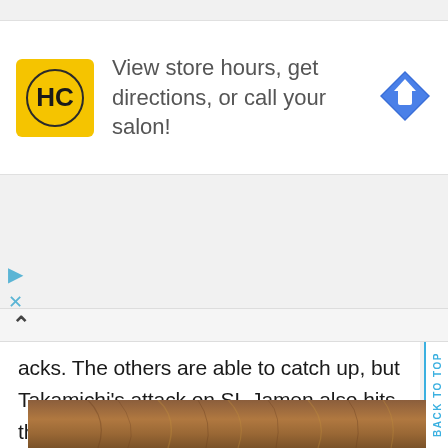[Figure (infographic): Advertisement banner: HC (Hair Club) logo in yellow square, text 'View store hours, get directions, or call your salon!' with blue diamond direction arrow icon]
[Figure (infographic): Ad controls: play triangle icon and X close icon in blue, with up chevron navigation element]
acks. The others are able to catch up, but Takamichi's attack on SL Jamen also hits them. Tametomo argues with Takamichi and that allows SL Jamen to speed away.
[Figure (photo): Partial photo of a person with brown/auburn hair, cropped at the top of the head]